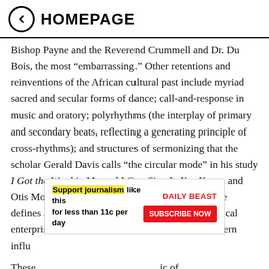HOMEPAGE
Bishop Payne and the Reverend Crummell and Dr. Du Bois, the most “embarrassing.” Other retentions and reinventions of the African cultural past include myriad sacred and secular forms of dance; call-and-response in music and oratory; polyrhythms (the interplay of primary and secondary beats, reflecting a generating principle of cross-rhythms); and structures of sermonizing that the scholar Gerald Davis calls “the circular mode” in his study I Got the Word in Me and I Can Sing It, You Know, and Otis Moss III calls “blue note preaching,” which he defines as “a unique cultural narrative and theological enterprise where African motifs meet diverse Western influences of North America.”
[Figure (other): Advertisement overlay: 'Support journalism like this for less than 11c per day' with Daily Beast branding and 'Subscribe Now' button]
These